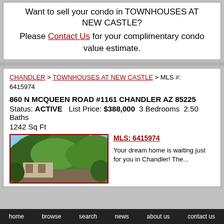Want to sell your condo in TOWNHOUSES AT NEW CASTLE?
Please Contact Us for your complimentary condo value estimate.
CHANDLER > TOWNHOUSES AT NEW CASTLE > MLS #: 6415974
860 N MCQUEEN ROAD #1161 CHANDLER AZ 85225
Status: ACTIVE   List Price: $388,000   3 Bedrooms   2.50 Baths   1242 Sq Ft
[Figure (photo): Exterior photo of property with green trees visible]
MLS: 6415974
Your dream home is waiting just for you in Chandler! The...
home   browse   search   news   about us   contact us